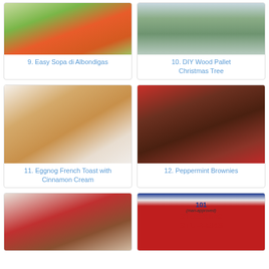[Figure (photo): Bowl of soup with avocado and herbs - Easy Sopa di Albondigas]
9. Easy Sopa di Albondigas
[Figure (photo): DIY wood pallet Christmas tree with ornaments]
10. DIY Wood Pallet Christmas Tree
[Figure (photo): Eggnog French Toast with whipped cream on a white plate]
11. Eggnog French Toast with Cinnamon Cream
[Figure (photo): Peppermint Brownies with red and white candy pieces on top]
12. Peppermint Brownies
[Figure (photo): Holiday dinner table setting with red tablecloth]
[Figure (photo): 101 man-approved stocking stuffers graphic with bold red text on white]